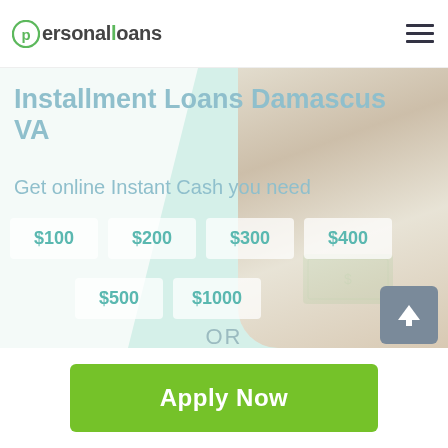[Figure (logo): PersonalLoans logo with green circle P icon and text 'personalloans']
Installment Loans Damascus VA
Get online Instant Cash you need
$100   $200   $300   $400   $500   $1000
OR
Apply Now
Applying does NOT affect your credit score! No credit check to apply.